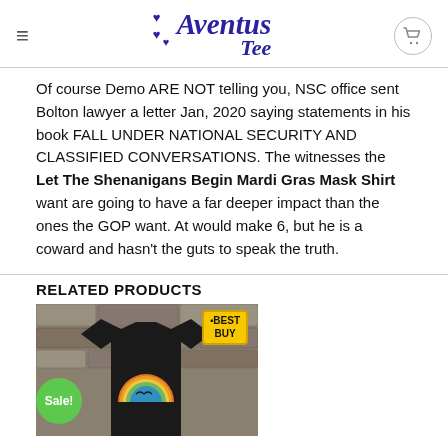Aventus Tee
Of course Demo ARE NOT telling you, NSC office sent Bolton lawyer a letter Jan, 2020 saying statements in his book FALL UNDER NATIONAL SECURITY AND CLASSIFIED CONVERSATIONS. The witnesses the Let The Shenanigans Begin Mardi Gras Mask Shirt want are going to have a far deeper impact than the ones the GOP want. At would make 6, but he is a coward and hasn't the guts to speak the truth.
RELATED PRODUCTS
[Figure (photo): A black t-shirt with a retro sunset circle graphic, displayed against a stone background. Has a yellow 'BEST BUY' badge in top-right and a green 'Sale!' badge in bottom-left.]